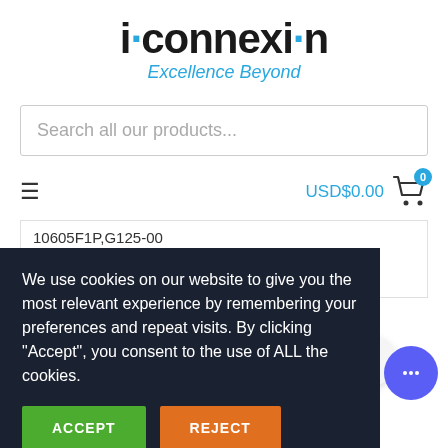[Figure (logo): iconnexion logo with blue dots on i and n, and italic 'Excellence Beyond' tagline in blue]
Search all our products...
USD$0.00
10605F1P,G125-00
w-Lok Mating
We use cookies on our website to give you the most relevant experience by remembering your preferences and repeat visits. By clicking "Accept", you consent to the use of ALL the cookies.
ACCEPT
REJECT
Contact us
CONTACTS: